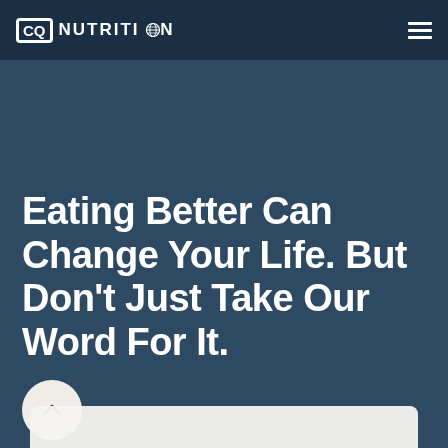CQ NUTRITION
Eating Better Can Change Your Life. But Don't Just Take Our Word For It.
[Figure (other): Circular scroll-up button with an upward chevron arrow, light beige/cream background]
[Figure (other): Bottom partial card/panel, light beige color, partially visible at bottom of page]